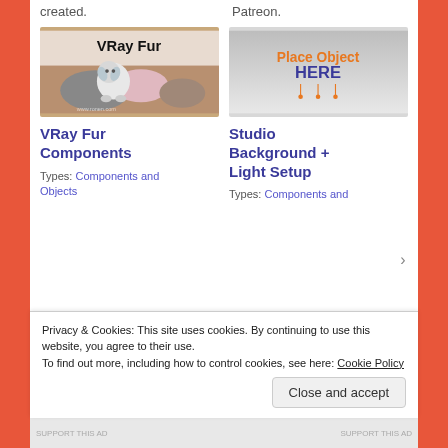created.
Patreon.
[Figure (photo): VRay Fur product thumbnail showing stuffed animals and fuzzy objects on a textured surface, with 'VRay Fur' text overlay]
[Figure (screenshot): Studio Background + Light Setup thumbnail showing 'Place Object HERE' text in orange and blue on a grey gradient background]
VRay Fur Components
Studio Background + Light Setup
Types: Components and Objects
Types: Components and
Privacy & Cookies: This site uses cookies. By continuing to use this website, you agree to their use.
To find out more, including how to control cookies, see here: Cookie Policy
Close and accept